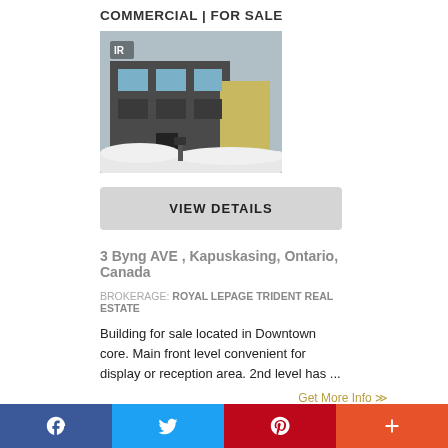COMMERCIAL | FOR SALE
[Figure (photo): Exterior of a commercial building in winter with snow, dark facade with large windows]
VIEW DETAILS
3 Byng AVE , Kapuskasing, Ontario, Canada
BROKERAGE: ROYAL LEPAGE TRIDENT REAL ESTATE
Building for sale located in Downtown core. Main front level convenient for display or reception area. 2nd level has ...
Get More Info ≫
LISTING # TM221676  |  $169,900
[Figure (other): Social media share bar with Facebook, Twitter, Pinterest, and More buttons]